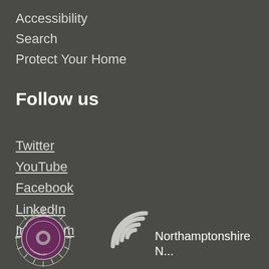Accessibility
Search
Protect Your Home
Follow us
Twitter
YouTube
Facebook
LinkedIn
Instagram
[Figure (logo): Northamptonshire Police badge/crest logo in purple and white]
[Figure (logo): Northamptonshire Neighbourhood Watch logo with wifi-style arc icon and text 'Northamptonshire']